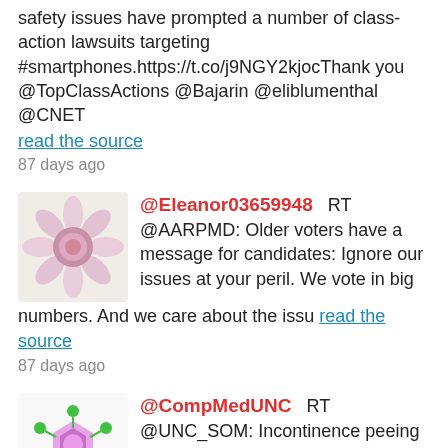safety issues have prompted a number of class-action lawsuits targeting #smartphones.https://t.co/j9NGY2kjocThank you @TopClassActions @Bajarin @eliblumenthal @CNET read the source
87 days ago
@Eleanor03659948   RT @AARPMD: Older voters have a message for candidates: Ignore our issues at your peril. We vote in big numbers. And we care about the issu read the source
87 days ago
@CompMedUNC   RT @UNC_SOM: Incontinence peeing when you laugh or sneeze, or having to race to the bathroom so you dont leak in your underwear can be read the source
87 days ago